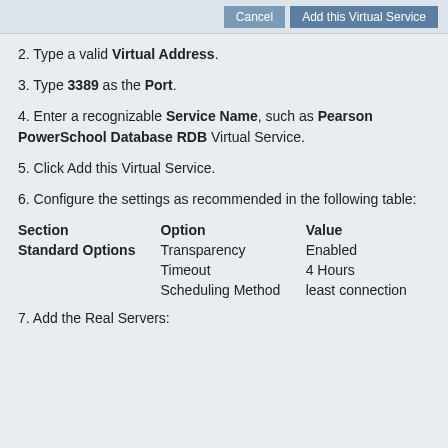Cancel  Add this Virtual Service
2. Type a valid Virtual Address.
3. Type 3389 as the Port.
4. Enter a recognizable Service Name, such as Pearson PowerSchool Database RDB Virtual Service.
5. Click Add this Virtual Service.
6. Configure the settings as recommended in the following table:
| Section | Option | Value |
| --- | --- | --- |
| Standard Options | Transparency | Enabled |
|  | Timeout | 4 Hours |
|  | Scheduling Method | least connection |
7. Add the Real Servers: